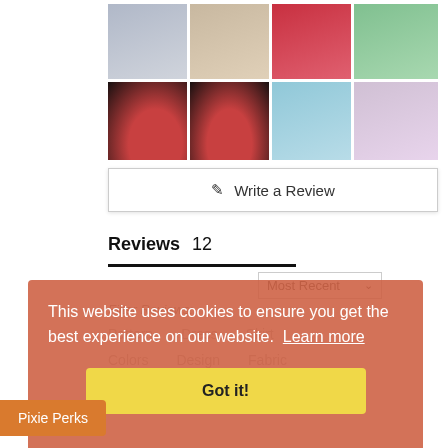[Figure (photo): Grid of 8 doll clothing photos arranged in 2 rows of 4 columns showing various doll dresses and outfits]
✎  Write a Review
Reviews  12
Most Recent
Filter Reviews:
Pattern
Dress
Skirt
Colors
Design
Fabric
This website uses cookies to ensure you get the best experience on our website. Learn more
Got it!
Pixie Perks